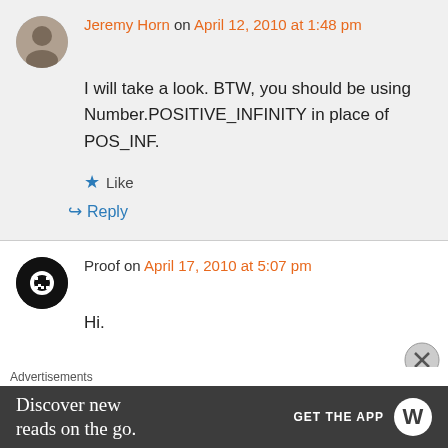Jeremy Horn on April 12, 2010 at 1:48 pm
I will take a look. BTW, you should be using Number.POSITIVE_INFINITY in place of POS_INF.
Like
Reply
Proof on April 17, 2010 at 5:07 pm
Hi.
Advertisements
Discover new reads on the go. GET THE APP